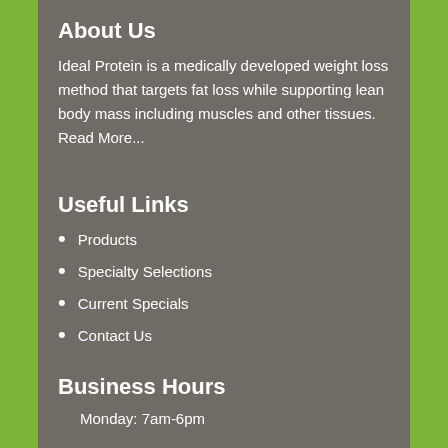About Us
Ideal Protein is a medically developed weight loss method that targets fat loss while supporting lean body mass including muscles and other tissues. Read More...
Useful Links
Products
Specialty Selections
Current Specials
Contact Us
Business Hours
Monday: 7am-6pm